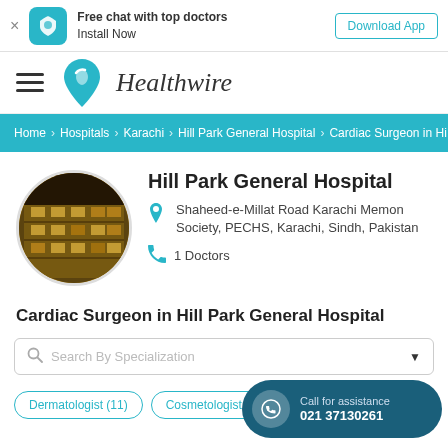Free chat with top doctors Install Now | Download App
[Figure (logo): Healthwire logo with teal heart/location pin icon and italic text 'Healthwire']
Home > Hospitals > Karachi > Hill Park General Hospital > Cardiac Surgeon in Hi
Hill Park General Hospital
[Figure (photo): Circular photo of Hill Park General Hospital building exterior with yellow/gold lighting]
Shaheed-e-Millat Road Karachi Memon Society, PECHS, Karachi, Sindh, Pakistan
1 Doctors
Cardiac Surgeon in Hill Park General Hospital
Search By Specialization
Dermatologist (11)
Cosmetologist (6)
Call for assistance 021 37130261